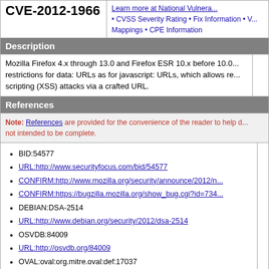CVE-2012-1966
Learn more at National Vulnera... • CVSS Severity Rating • Fix Information • V... Mappings • CPE Information
Description
Mozilla Firefox 4.x through 13.0 and Firefox ESR 10.x before 10.0... restrictions for data: URLs as for javascript: URLs, which allows re... scripting (XSS) attacks via a crafted URL.
References
Note: References are provided for the convenience of the reader to help d... not intended to be complete.
BID:54577
URL:http://www.securityfocus.com/bid/54577
CONFIRM:http://www.mozilla.org/security/announce/2012/n...
CONFIRM:https://bugzilla.mozilla.org/show_bug.cgi?id=734...
DEBIAN:DSA-2514
URL:http://www.debian.org/security/2012/dsa-2514
OSVDB:84009
URL:http://osvdb.org/84009
OVAL:oval:org.mitre.oval:def:17037
URL:https://oval.cisecurity.org/repository/search/definition/o...
REDHAT:RHSA-2012:1088
URL:http://rhn.redhat.com/errata/RHSA-2012-1088.html